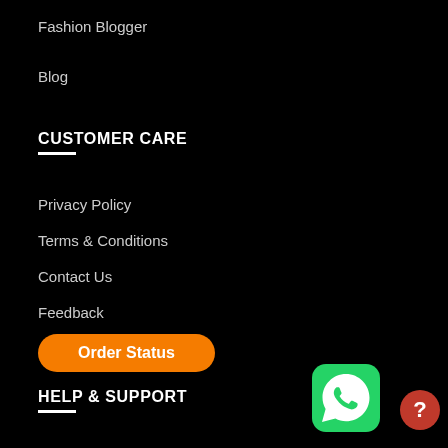Fashion Blogger
Blog
CUSTOMER CARE
Privacy Policy
Terms & Conditions
Contact Us
Feedback
Order Status
HELP & SUPPORT
Shipping & Delivery Information
Return and Exchange Policy
FAQ
[Figure (logo): WhatsApp green icon with speech bubble]
[Figure (other): Orange/red circular help/question mark button]